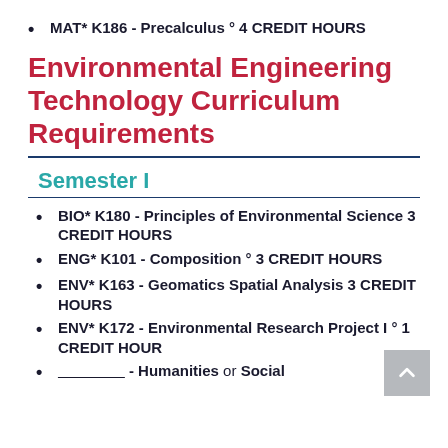MAT* K186 - Precalculus ° 4 CREDIT HOURS
Environmental Engineering Technology Curriculum Requirements
Semester I
BIO* K180 - Principles of Environmental Science 3 CREDIT HOURS
ENG* K101 - Composition ° 3 CREDIT HOURS
ENV* K163 - Geomatics Spatial Analysis 3 CREDIT HOURS
ENV* K172 - Environmental Research Project I ° 1 CREDIT HOUR
________ - Humanities or Social